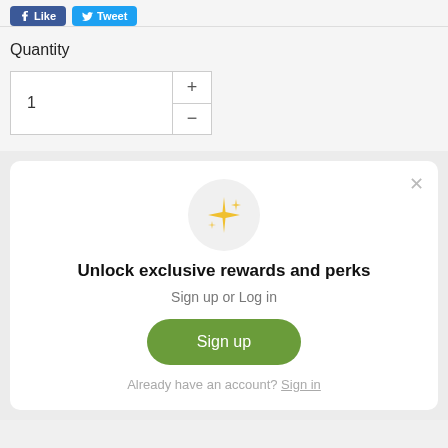[Figure (screenshot): Social share buttons: Facebook Like and Twitter Tweet buttons at the top of the page]
Quantity
[Figure (screenshot): Quantity input control showing value 1 with + and - buttons]
Unlock exclusive rewards and perks
Sign up or Log in
Sign up
Already have an account? Sign in